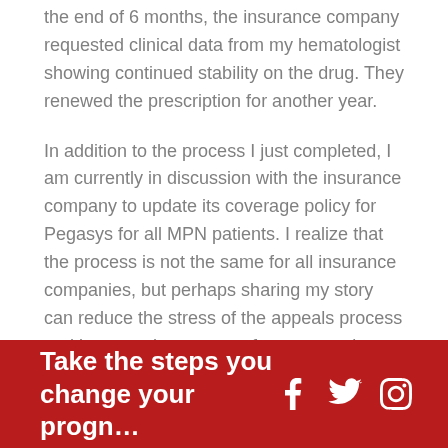the end of 6 months, the insurance company requested clinical data from my hematologist showing continued stability on the drug. They renewed the prescription for another year.
In addition to the process I just completed, I am currently in discussion with the insurance company to update its coverage policy for Pegasys for all MPN patients. I realize that the process is not the same for all insurance companies, but perhaps sharing my story can reduce the stress of the appeals process and improve the outcome for some patients.
Take the steps you change your progn…
[Figure (logo): Social media icons: Facebook, Twitter, Instagram in white on red background]